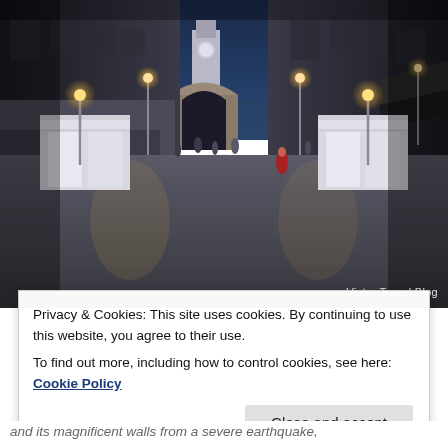[Figure (photo): Evening/dusk photo of a historic stone-paved pedestrian street in Dubrovnik old town. The wide marble street (Stradun/Placa) leads towards a large archway and clock tower in the background. White market stalls line the sides, street lamps cast warm yellow glow, and a few people walk in the distance. Stone buildings flank both sides. The sky is deep blue indicating dusk.]
Victor Travel Blog
Privacy & Cookies: This site uses cookies. By continuing to use this website, you agree to their use.
To find out more, including how to control cookies, see here: Cookie Policy
and its magnificent walls from a severe earthquake,